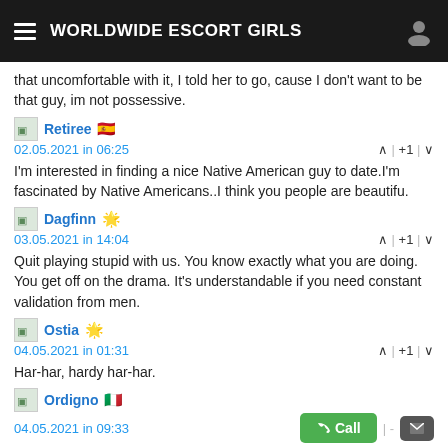WORLDWIDE ESCORT GIRLS
that uncomfortable with it, I told her to go, cause I don't want to be that guy, im not possessive.
Retiree 🇪🇸
02.05.2021 in 06:25  | +1 |
I'm interested in finding a nice Native American guy to date.I'm fascinated by Native Americans..I think you people are beautifu.
Dagfinn 🌟
03.05.2021 in 14:04  | +1 |
Quit playing stupid with us. You know exactly what you are doing. You get off on the drama. It's understandable if you need constant validation from men.
Ostia 🌟
04.05.2021 in 01:31  | +1 |
Har-har, hardy har-har.
Ordigno 🇮🇹
04.05.2021 in 09:33
very late (about 45 mins) but excellent attitude and service. Great body